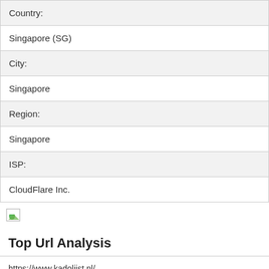| Country: |
| Singapore (SG) |
| City: |
| Singapore |
| Region: |
| Singapore |
| ISP: |
| CloudFlare Inc. |
[Figure (illustration): Broken image icon with small green triangle/mountain element]
Top Url Analysis
https://www.kadolijst.nl/